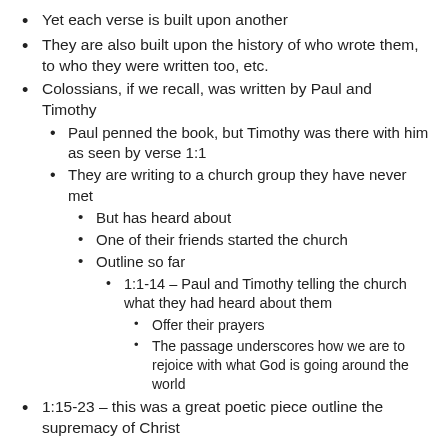Yet each verse is built upon another
They are also built upon the history of who wrote them, to who they were written too, etc.
Colossians, if we recall, was written by Paul and Timothy
Paul penned the book, but Timothy was there with him as seen by verse 1:1
They are writing to a church group they have never met
But has heard about
One of their friends started the church
Outline so far
1:1-14 – Paul and Timothy telling the church what they had heard about them
Offer their prayers
The passage underscores how we are to rejoice with what God is going around the world
1:15-23 – this was a great poetic piece outline the supremacy of Christ